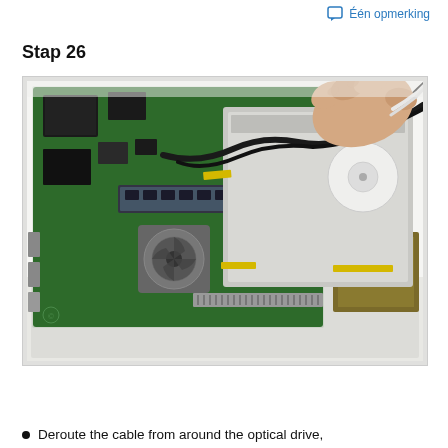Één opmerking
Stap 26
[Figure (photo): A hand pulling a cable from around the optical drive of a disassembled laptop motherboard, showing green circuit board, RAM modules, cooling fan, and optical drive bay.]
Deroute the cable from around the optical drive,